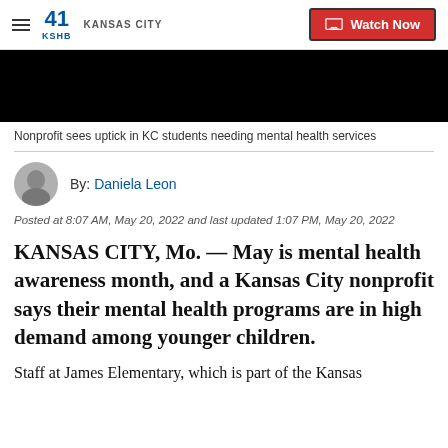41 KSHB KANSAS CITY — Watch Now
[Figure (screenshot): Black video thumbnail]
Nonprofit sees uptick in KC students needing mental health services
By: Daniela Leon
Posted at 8:07 AM, May 20, 2022 and last updated 1:07 PM, May 20, 2022
KANSAS CITY, Mo. — May is mental health awareness month, and a Kansas City nonprofit says their mental health programs are in high demand among younger children.
Staff at James Elementary, which is part of the Kansas